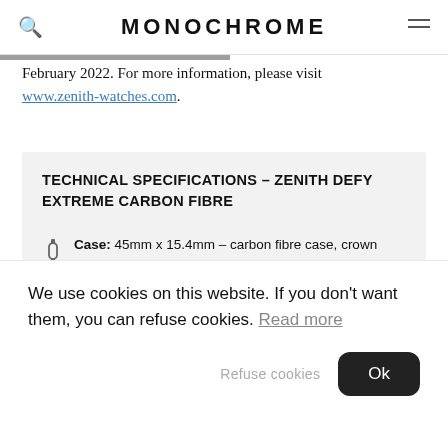MONOCHROME
February 2022. For more information, please visit www.zenith-watches.com.
TECHNICAL SPECIFICATIONS – ZENITH DEFY EXTREME CARBON FIBRE
Case: 45mm x 15.4mm – carbon fibre case, crown
We use cookies on this website. If you don't want them, you can refuse cookies. Read more